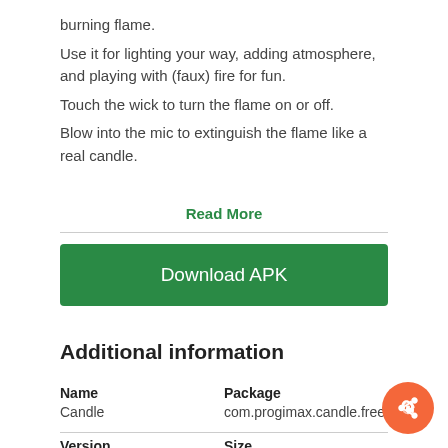burning flame.
Use it for lighting your way, adding atmosphere, and playing with (faux) fire for fun.
Touch the wick to turn the flame on or off.
Blow into the mic to extinguish the flame like a real candle.
Read More
Download APK
Additional information
| Name | Package |
| --- | --- |
| Candle | com.progimax.candle.free |
| Version | Size |
| --- | --- |